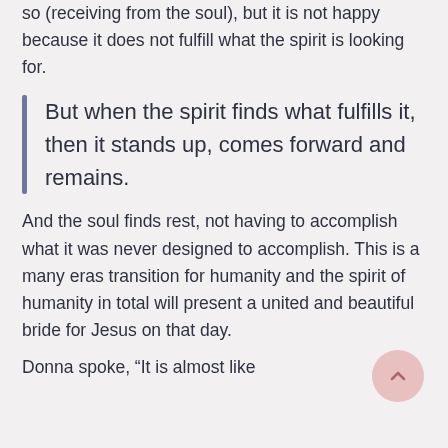so (receiving from the soul), but it is not happy because it does not fulfill what the spirit is looking for.
But when the spirit finds what fulfills it,  then it stands up, comes forward and remains.
And the soul finds rest, not having to accomplish what it was never designed to accomplish. This is a many eras transition for humanity and the spirit of humanity in total will present a united and beautiful bride for Jesus on that day.
Donna spoke, “It is almost like